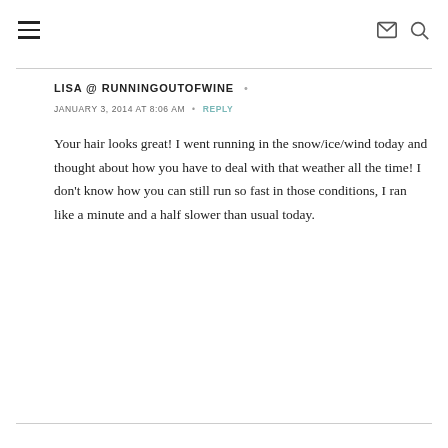≡  ✉ 🔍
LISA @ RUNNINGOUTOFWINE •
JANUARY 3, 2014 AT 8:06 AM  •  REPLY
Your hair looks great! I went running in the snow/ice/wind today and thought about how you have to deal with that weather all the time! I don't know how you can still run so fast in those conditions, I ran like a minute and a half slower than usual today.